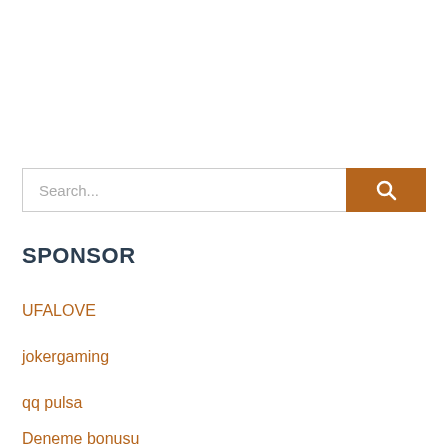[Figure (screenshot): Search bar with text input field showing placeholder 'Search...' and an orange/brown search button with magnifying glass icon]
SPONSOR
UFALOVE
jokergaming
qq pulsa
Deneme bonusu